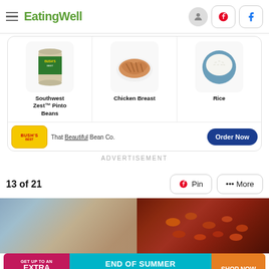EatingWell
[Figure (screenshot): Bush's Best ad with product items: Southwest Zest Pinto Beans can, Chicken Breast, Rice, and Bush's Best logo with 'That Beautiful Bean Co.' tagline and 'Order Now' button]
ADVERTISEMENT
13 of 21
[Figure (photo): Food image strip showing pasta/casserole dish]
[Figure (screenshot): End of Summer Sale-A-Thon banner ad: GET UP TO AN EXTRA 50% OFF | END OF SUMMER SALE-A-THON | SHOP NOW]